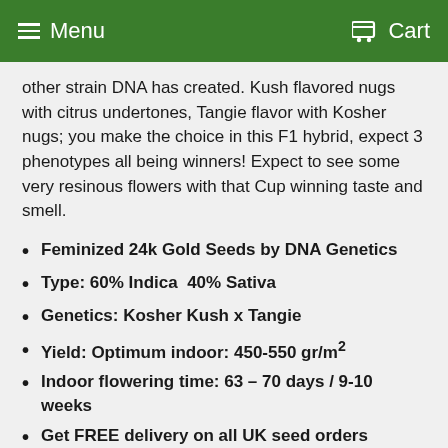Menu  Cart
other strain DNA has created. Kush flavored nugs with citrus undertones, Tangie flavor with Kosher nugs; you make the choice in this F1 hybrid, expect 3 phenotypes all being winners! Expect to see some very resinous flowers with that Cup winning taste and smell.
Feminized 24k Gold Seeds by DNA Genetics
Type: 60% Indica  40% Sativa
Genetics: Kosher Kush x Tangie
Yield: Optimum indoor: 450-550 gr/m²
Indoor flowering time: 63 – 70 days / 9-10 weeks
Get FREE delivery on all UK seed orders
All the product descriptions used on this site have come directly from the breeders who operate in a legal climate